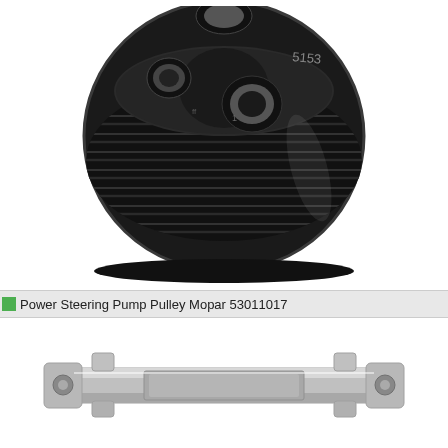[Figure (photo): Black serpentine belt pulley (power steering pump pulley) viewed from front, showing ribbed groove profile and mounting holes. Part number 5153 embossed on face.]
Power Steering Pump Pulley Mopar 53011017
[Figure (photo): Silver/aluminum power steering pump bracket or mounting plate, viewed from above, with two circular mounting holes and rectangular center cavity. Watermark: ©Tasca Parts repeated twice.]